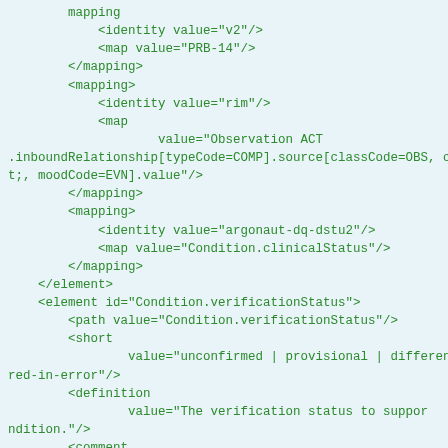XML/FHIR code snippet showing mapping and element definitions for Condition.verificationStatus